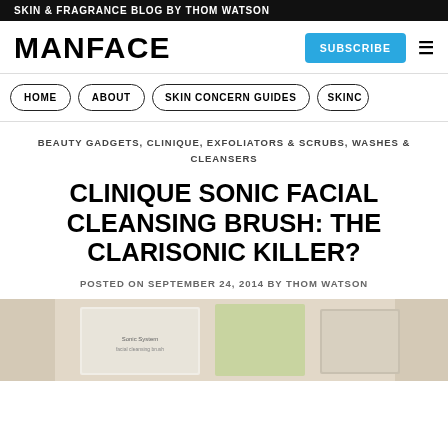SKIN & FRAGRANCE BLOG BY THOM WATSON
MANFACE
SUBSCRIBE
HOME | ABOUT | SKIN CONCERN GUIDES | SKINC...
BEAUTY GADGETS, CLINIQUE, EXFOLIATORS & SCRUBS, WASHES & CLEANSERS
CLINIQUE SONIC FACIAL CLEANSING BRUSH: THE CLARISONIC KILLER?
POSTED ON SEPTEMBER 24, 2014 BY THOM WATSON
[Figure (photo): Product photo showing Clinique Sonic System facial cleansing brush packaging and product materials on a surface]